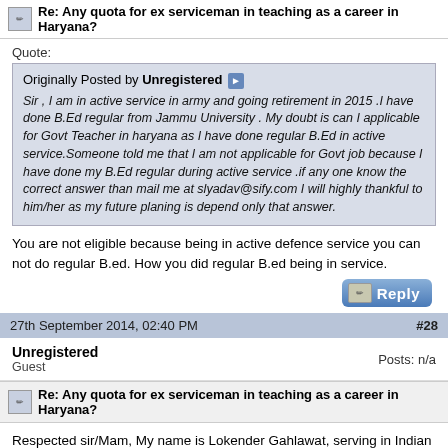Re: Any quota for ex serviceman in teaching as a career in Haryana?
Quote:
Originally Posted by Unregistered
Sir , I am in active service in army and going retirement in 2015 .I have done B.Ed regular from Jammu University . My doubt is can I applicable for Govt Teacher in haryana as I have done regular B.Ed in active service.Someone told me that I am not applicable for Govt job because I have done my B.Ed regular during active service .if any one know the correct answer than mail me at slyadav@sify.com I will highly thankful to him/her as my future planing is depend only that answer.
You are not eligible because being in active defence service you can not do regular B.ed. How you did regular B.ed being in service.
27th September 2014, 02:40 PM
#28
Unregistered
Guest
Posts: n/a
Re: Any quota for ex serviceman in teaching as a career in Haryana?
Respected sir/Mam, My name is Lokender Gahlawat, serving in Indian Army and probably to be discharge from service in 2019. My qualification is BCA (regular) from MDU PGDCA (distance) from KUK